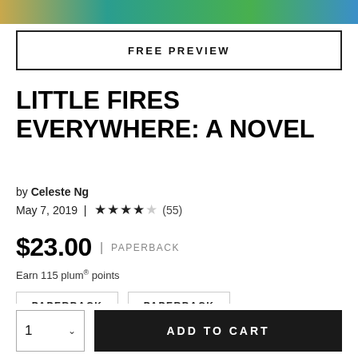[Figure (illustration): Top portion of book cover showing teal, green and gold colors with a partial medal/seal visible]
FREE PREVIEW
LITTLE FIRES EVERYWHERE: A NOVEL
by Celeste Ng
May 7, 2019 | ★★★★☆ (55)
$23.00 | PAPERBACK
Earn 115 plum® points
| PAPERBACK | PAPERBACK |
| $39.00 | SOLD OUT |
1 ∨  ADD TO CART